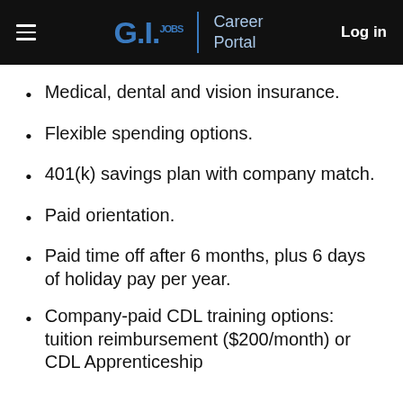G.I.JOBS | Career Portal  Log in
Medical, dental and vision insurance.
Flexible spending options.
401(k) savings plan with company match.
Paid orientation.
Paid time off after 6 months, plus 6 days of holiday pay per year.
Company-paid CDL training options: tuition reimbursement ($200/month) or CDL Apprenticeship